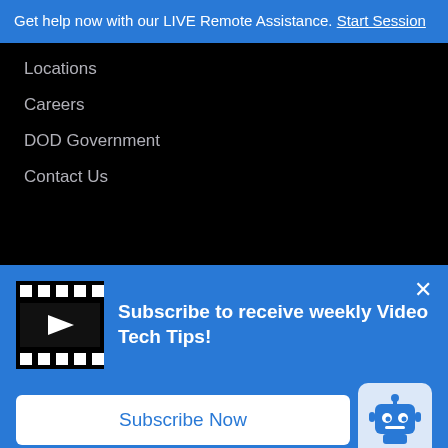Get help now with our LIVE Remote Assistance. Start Session
Locations
Careers
DOD Government
Contact Us
Subscribe to receive weekly Video Tech Tips!
Subscribe Now